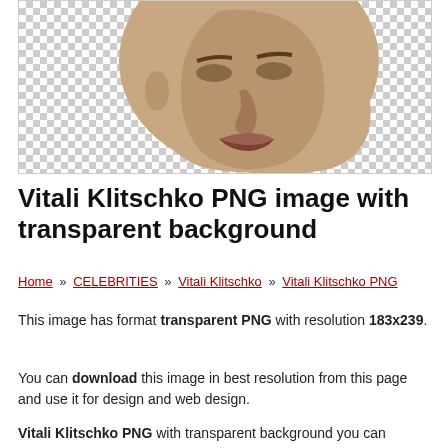[Figure (photo): Vitali Klitschko face photo on transparent (checkered) background]
Vitali Klitschko PNG image with transparent background
Home » CELEBRITIES » Vitali Klitschko » Vitali Klitschko PNG
This image has format transparent PNG with resolution 183x239.
You can download this image in best resolution from this page and use it for design and web design.
Vitali Klitschko PNG with transparent background you can